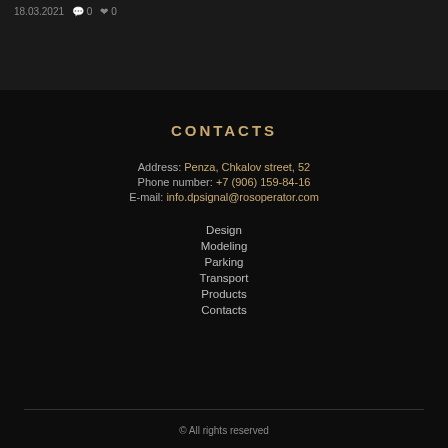18.03.2021  0  0
CONTACTS
Address: Penza, Chkalov street, 52
Phone number: +7 (906) 159-84-16
E-mail: info.dpsignal@rosoperator.com
Design
Modeling
Parking
Transport
Products
Contacts
© All rights reserved